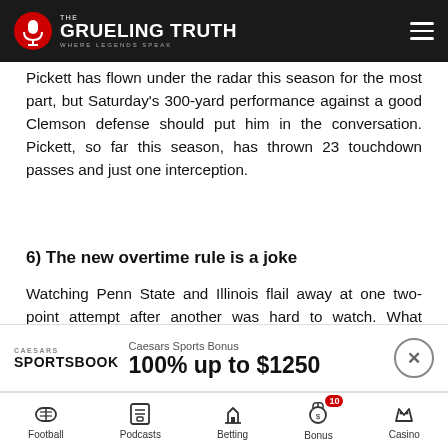The Grueling Truth — Where Legends Speak
Pickett has flown under the radar this season for the most part, but Saturday's 300-yard performance against a good Clemson defense should put him in the conversation. Pickett, so far this season, has thrown 23 touchdown passes and just one interception.
6) The new overtime rule is a joke
Watching Penn State and Illinois flail away at one two-point attempt after another was hard to watch. What exactly is wrong with the old rule, Hell the game would have been shorter had they just played normal overtime the entire time. Two-point conversions are not easy to convert, plus it's not a
[Figure (infographic): Caesars Sportsbook advertisement banner: '100% up to $1250' bonus offer with close button]
Football | Podcasts | Betting | Bonus (10) | Casino